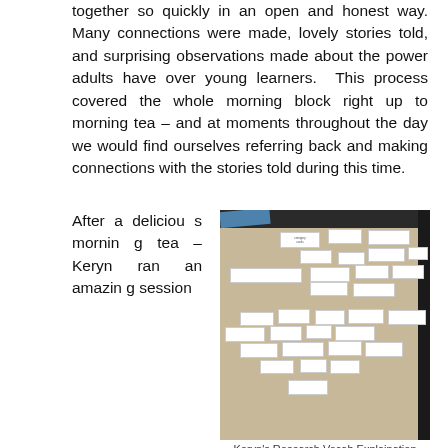together so quickly in an open and honest way. Many connections were made, lovely stories told, and surprising observations made about the power adults have over young learners. This process covered the whole morning block right up to morning tea – and at moments throughout the day we would find ourselves referring back and making connections with the stories told during this time.
After a delicious morning tea – Keryn ran an amazing session
[Figure (photo): Photograph of word/vocabulary cards spread out on a table, viewed from above. Many small white rectangular cards with printed text are arranged loosely across a beige/tan table surface. Dark background at top edge.]
Keryn's Research Vocab Explaination